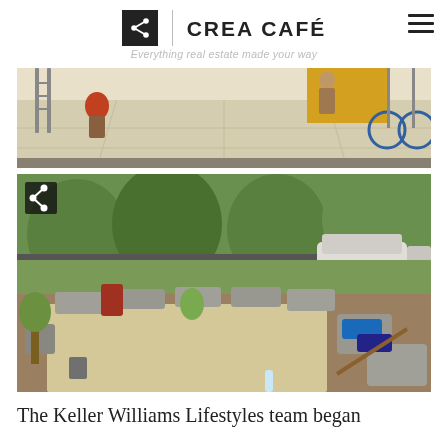CREA CAFÉ — Everything real estate made your way
[Figure (photo): Indoor construction/renovation scene showing workers laying flooring in a large gymnasium or hall, with equipment and scaffolding visible.]
[Figure (photo): Outdoor garden scene showing a freshly leveled sand/gravel court area surrounded by large stone blocks used as seating, with trees, parked cars, and clothing/supplies visible.]
The Keller Williams Lifestyles team began